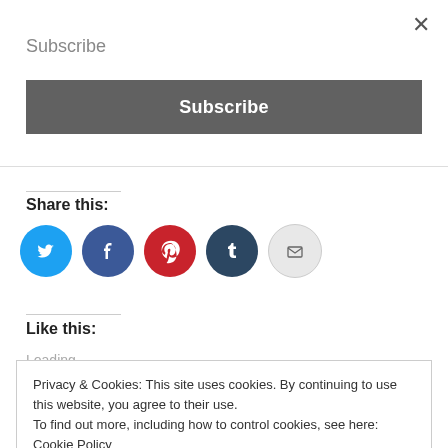×
Subscribe
Subscribe
Share this:
[Figure (other): Social share buttons: Twitter, Facebook, Pinterest, Tumblr, Email]
Like this:
Loading...
Privacy & Cookies: This site uses cookies. By continuing to use this website, you agree to their use.
To find out more, including how to control cookies, see here: Cookie Policy
Close and accept